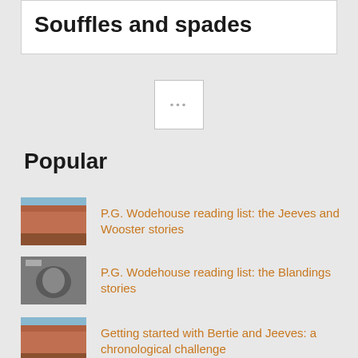Souffles and spades
...
Popular
P.G. Wodehouse reading list: the Jeeves and Wooster stories
P.G. Wodehouse reading list: the Blandings stories
Getting started with Bertie and Jeeves: a chronological challenge
P.G. Wodehouse reading guide